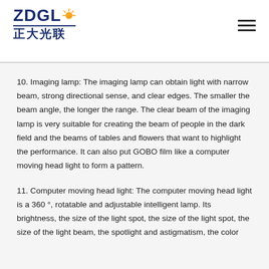ZDGL 正大光联
10. Imaging lamp: The imaging lamp can obtain light with narrow beam, strong directional sense, and clear edges. The smaller the beam angle, the longer the range. The clear beam of the imaging lamp is very suitable for creating the beam of people in the dark field and the beams of tables and flowers that want to highlight the performance. It can also put GOBO film like a computer moving head light to form a pattern.
11. Computer moving head light: The computer moving head light is a 360 °, rotatable and adjustable intelligent lamp. Its brightness, the size of the light spot, the size of the light spot, the size of the light beam, the spotlight and astigmatism, the color